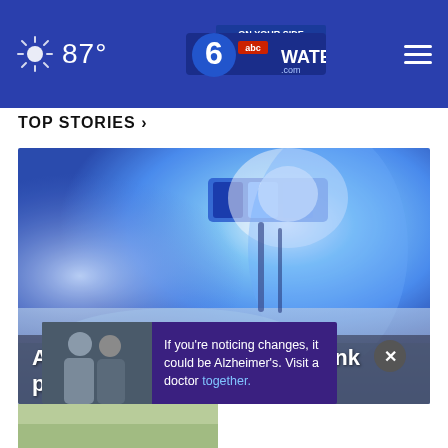87° — WATE.com (6 abc On Your Side)
TOP STORIES ›
[Figure (photo): Police car with blue flashing light, blurred close-up]
Alcoa student cited after 'prank phone call' threat
If you're noticing changes, it could be Alzheimer's. Visit a doctor together.